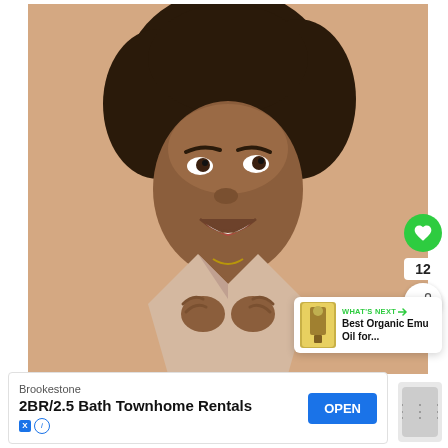[Figure (photo): Portrait photo of a young woman with natural curly hair, smiling, wearing a light pink/beige collared shirt, hands raised near her collar, against a beige background]
[Figure (infographic): Green heart like button showing count 12, share button, and 'What's Next' panel showing 'Best Organic Emu Oil for...' with product image]
[Figure (infographic): Advertisement bar: Brookestone brand, '2BR/2.5 Bath Townhome Rentals' with blue OPEN button and ad disclosure icons]